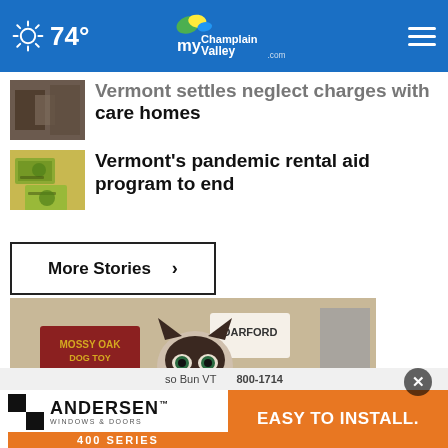74° myChamplainValley.com
Vermont settles neglect charges with care homes
Vermont's pandemic rental aid program to end
More Stories ›
[Figure (photo): A Siamese cat sitting on a store counter, with Mossy Oak Dog Toy and Darford brand signs visible in the background of a pet supply store.]
[Figure (screenshot): Andersen Windows & Doors 400 Series advertisement banner with orange and white sections showing 'EASY TO INSTALL.']